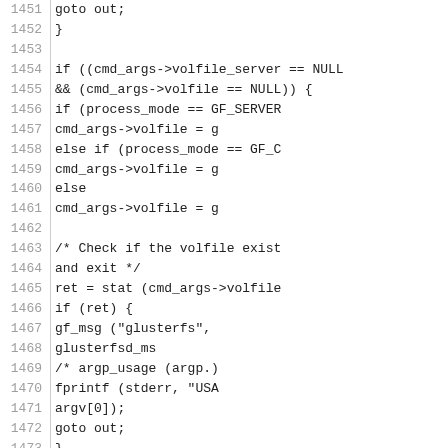[Figure (screenshot): Source code listing showing C code lines 1451-1480, with line numbers on the left and code on the right, monospace font on white background.]